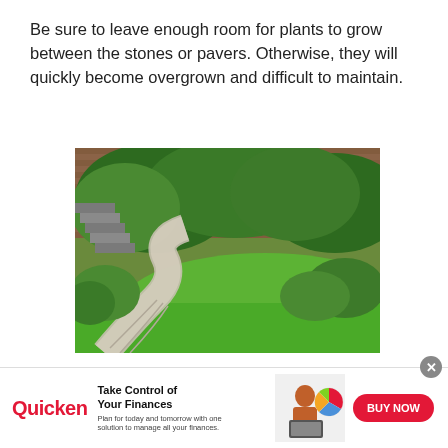Be sure to leave enough room for plants to grow between the stones or pavers. Otherwise, they will quickly become overgrown and difficult to maintain.
[Figure (photo): A curved stone paver pathway winding through a lush garden with green lawn, leafy plants, stone steps and a brick wall in the background.]
6) Use Recycled Materials
[Figure (infographic): Advertisement banner for Quicken financial software showing logo, 'Take Control of Your Finances' headline, a woman using a laptop, pie chart graphic, and a red 'BUY NOW' button.]